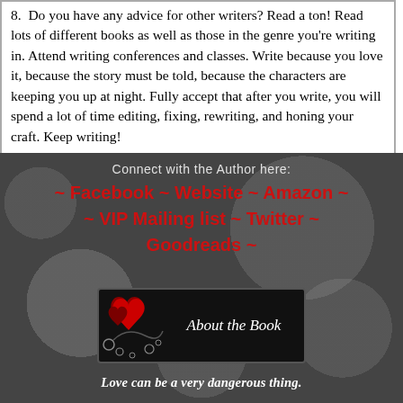8.  Do you have any advice for other writers? Read a ton! Read lots of different books as well as those in the genre you're writing in. Attend writing conferences and classes. Write because you love it, because the story must be told, because the characters are keeping you up at night. Fully accept that after you write, you will spend a lot of time editing, fixing, rewriting, and honing your craft. Keep writing!
Connect with the Author here:
~ Facebook ~ Website ~ Amazon ~ ~ VIP Mailing list ~ Twitter ~ Goodreads ~
[Figure (illustration): Black banner button with red heart illustrations on the left and white italic text reading 'About the Book']
Love can be a very dangerous thing.